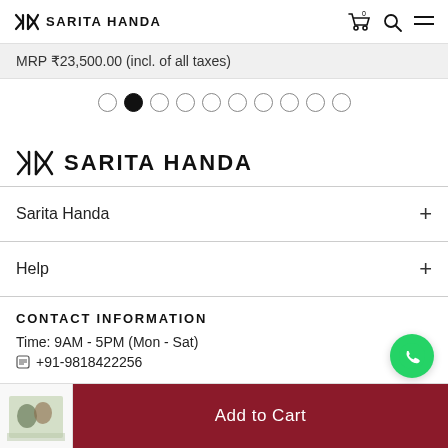SH SARITA HANDA
MRP ₹23,500.00 (incl. of all taxes)
[Figure (other): Carousel dot navigation with 10 dots, second dot filled/active]
SH SARITA HANDA
Sarita Handa +
Help +
CONTACT INFORMATION
Time: 9AM - 5PM (Mon - Sat)
+91-9818422256